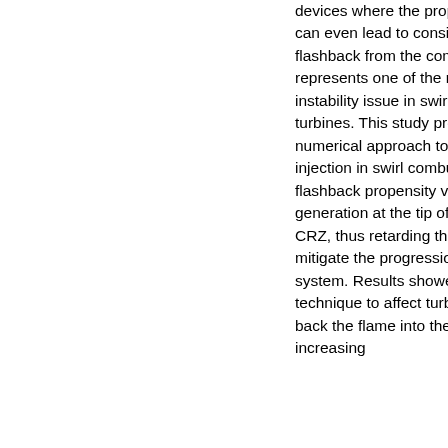devices where the propagation of these instabilities can even lead to considerable damages. Flame flashback from the combustion chamber into premixer represents one of the most important combustion instability issue in swirl combustors used in gas turbines. This study proposes an experimental and numerical approach to validate the use of a central air injection in swirl combustors to reduce flame flashback propensity via controlling the turbulence generation at the tip of the flame while pushing the CRZ, thus retarding the appearance of the CIVB, to mitigate the progression of combustion into the system. Results showed the potential of this technique to affect turbulence generation and pushing back the flame into the combustion chamber, increasing